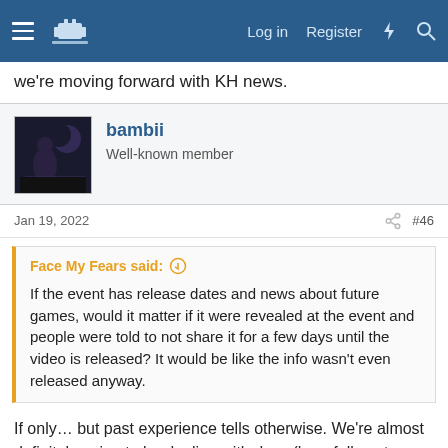Log in  Register
we're moving forward with KH news.
bambii
Well-known member
Jan 19, 2022  #46
Face My Fears said:
If the event has release dates and news about future games, would it matter if it were revealed at the event and people were told to not share it for a few days until the video is released? It would be like the info wasn't even released anyway.
If only… but past experience tells otherwise. We're almost definitely going to be dealing with days (hopefully not longer but who knows) of Google-translated impressions posted on JP Reddit and Twitter, all kinds of bizarre hearsay and—if we get any big reveals here—spoilers for the reveals. Not saying I'm not excited, I'm saying… why do this to your fanbase? It's just